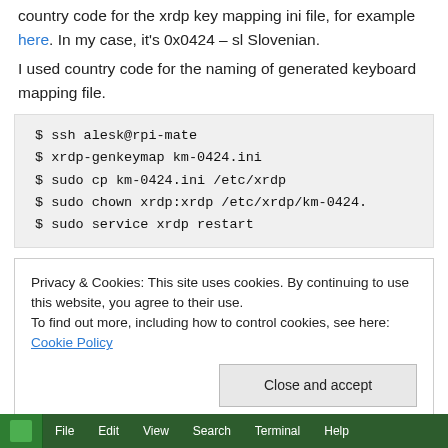country code for the xrdp key mapping ini file, for example here. In my case, it’s 0x0424 – sl Slovenian.
I used country code for the naming of generated keyboard mapping file.
$ ssh alesk@rpi-mate
$ xrdp-genkeymap km-0424.ini
$ sudo cp km-0424.ini /etc/xrdp
$ sudo chown xrdp:xrdp /etc/xrdp/km-0424.
$ sudo service xrdp restart
Privacy & Cookies: This site uses cookies. By continuing to use this website, you agree to their use.
To find out more, including how to control cookies, see here: Cookie Policy
[Figure (screenshot): Terminal window taskbar showing menu items: File, Edit, View, Search, Terminal, Help on a dark green background with 'alesk's Home' label]